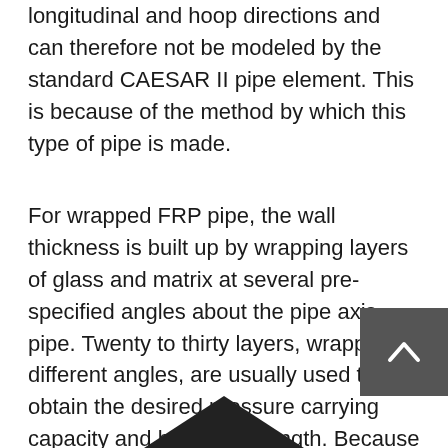longitudinal and hoop directions and can therefore not be modeled by the standard CAESAR II pipe element. This is because of the method by which this type of pipe is made.
For wrapped FRP pipe, the wall thickness is built up by wrapping layers of glass and matrix at several pre-specified angles about the pipe axis pipe. Twenty to thirty layers, wrapped at different angles, are usually used to obtain the desired pressure carrying capacity and bending strength. Because the layers are at different angles, and because the glass/matrix sheets are only capable of axial load carrying capacity, the resulting pipe has different strength characteristics in the